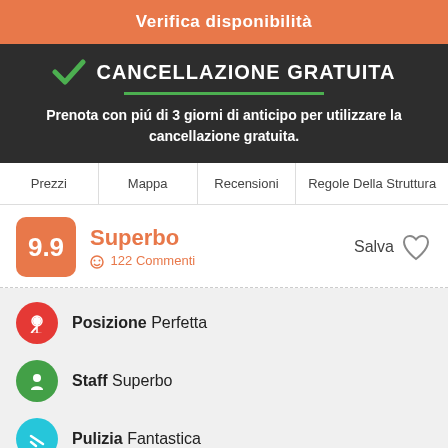Verifica disponibilità
CANCELLAZIONE GRATUITA
Prenota con piú di 3 giorni di anticipo per utilizzare la cancellazione gratuita.
Prezzi
Mappa
Recensioni
Regole Della Struttura
9.9
Superbo
122 Commenti
Salva
Posizione Perfetta
Staff Superbo
Pulizia Fantastica
Moustache Jaisalmer is a perfect mix between traditional and modern from honey suits to dorms we have it all. Complementing